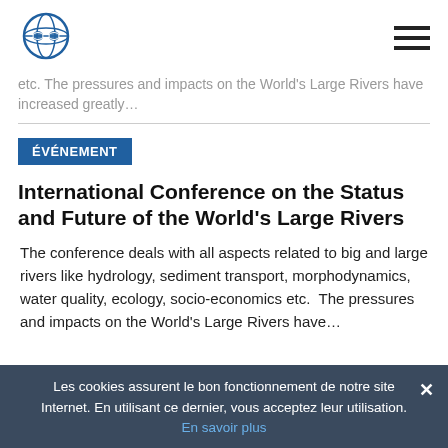[Logo and navigation]
etc.  The pressures and impacts on the World's Large Rivers have increased greatly…
ÉVÉNEMENT
International Conference on the Status and Future of the World's Large Rivers
The conference deals with all aspects related to big and large rivers like hydrology, sediment transport, morphodynamics, water quality, ecology, socio-economics etc.  The pressures and impacts on the World's Large Rivers have…
Les cookies assurent le bon fonctionnement de notre site Internet. En utilisant ce dernier, vous acceptez leur utilisation. En savoir plus